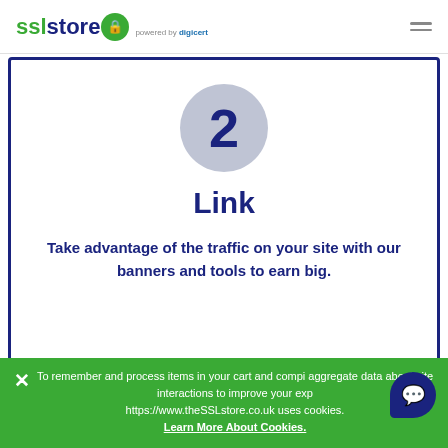sslstore powered by digicert
[Figure (illustration): Step 2 circle with number 2, followed by title 'Link' and subtitle text about taking advantage of traffic with banners and tools to earn big]
Link
Take advantage of the traffic on your site with our banners and tools to earn big.
To remember and process items in your cart and compile aggregate data about site interactions to improve your experience, https://www.theSSLstore.co.uk uses cookies.
Learn More About Cookies.